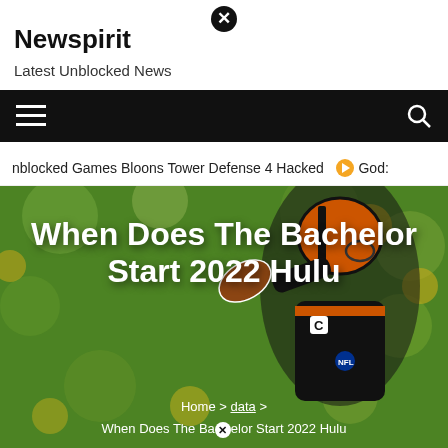⊗ (close button)
Newspirit
Latest Unblocked News
[Figure (other): Black navigation bar with hamburger menu icon on left and search icon on right]
nblocked Games Bloons Tower Defense 4 Hacked  ➡ God:
[Figure (photo): NFL Cincinnati Bengals quarterback throwing football, wearing orange and black helmet and uniform, with green floral background. Overlaid with large white bold title text 'When Does The Bachelor Start 2022 Hulu' and breadcrumb navigation 'Home > data > When Does The Bachelor Start 2022 Hulu']